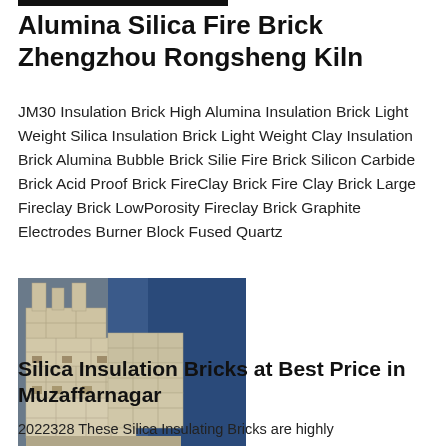Alumina Silica Fire Brick Zhengzhou Rongsheng Kiln
JM30 Insulation Brick High Alumina Insulation Brick Light Weight Silica Insulation Brick Light Weight Clay Insulation Brick Alumina Bubble Brick Silie Fire Brick Silicon Carbide Brick Acid Proof Brick FireClay Brick Fire Clay Brick Large Fireclay Brick LowPorosity Fireclay Brick Graphite Electrodes Burner Block Fused Quartz
[Figure (photo): Stack of light-colored fireclay/silica refractory bricks arranged in a structured formation, with a blue industrial background.]
Silica Insulation Bricks at Best Price in Muzaffarnagar
2022328 These Silica Insulating Bricks are highly